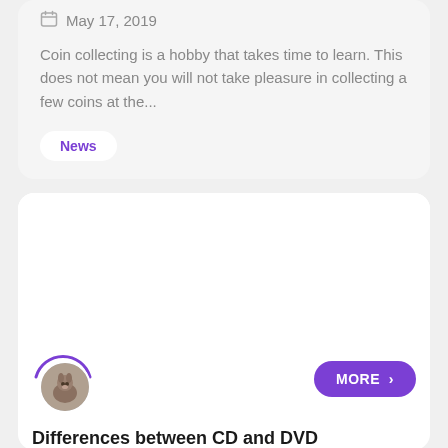May 17, 2019
Coin collecting is a hobby that takes time to learn. This does not mean you will not take pleasure in collecting a few coins at the...
News
[Figure (illustration): White card with avatar image showing a cat/animal, purple arc above avatar, and a purple 'MORE >' button]
Differences between CD and DVD